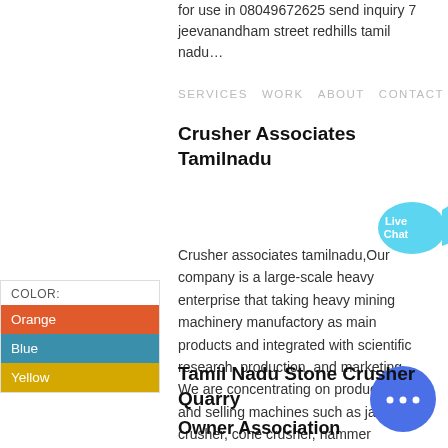for use in 08049672625 send inquiry 7 jeevanandham street redhills tamil nadu…
SERVICES  WORK  ABOUT  CONTACT
Crusher Associates Tamilnadu
Crusher associates tamilnadu,Our company is a large-scale heavy enterprise that taking heavy mining machinery manufactory as main products and integrated with scientific research, production, and marketing. We are concentrating on producing and selling machines such as jaw crusher, cone crusher, hammer crusher, ball mill, sand…
COLOR:
Orange
Blue
Yellow
[Figure (other): Live Chat speech bubble icon in cyan/blue]
[Figure (other): Chat circle button icon in blue with ellipsis]
Tamil Nadu Stone Crusher Quarry
Owner Association